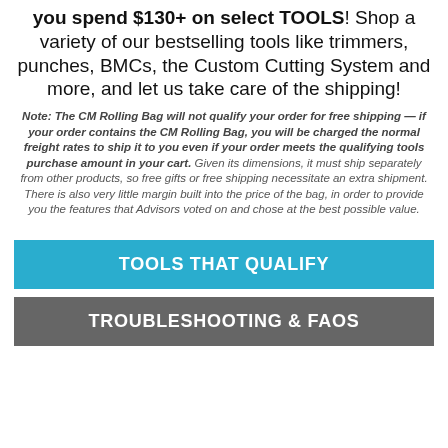you spend $130+ on select TOOLS! Shop a variety of our bestselling tools like trimmers, punches, BMCs, the Custom Cutting System and more, and let us take care of the shipping!
Note: The CM Rolling Bag will not qualify your order for free shipping — if your order contains the CM Rolling Bag, you will be charged the normal freight rates to ship it to you even if your order meets the qualifying tools purchase amount in your cart. Given its dimensions, it must ship separately from other products, so free gifts or free shipping necessitate an extra shipment. There is also very little margin built into the price of the bag, in order to provide you the features that Advisors voted on and chose at the best possible value.
TOOLS THAT QUALIFY
TROUBLESHOOTING & FAOS